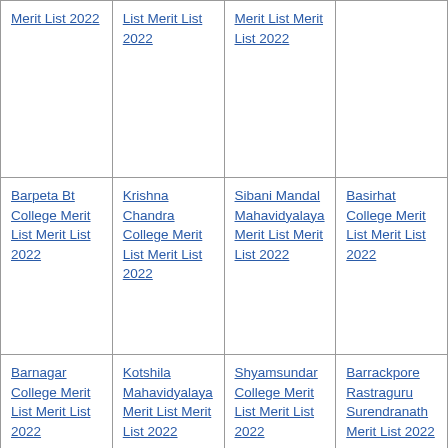| Merit List 2022 | List Merit List 2022 | Merit List Merit List 2022 |  |
| Barpeta Bt College Merit List Merit List 2022 | Krishna Chandra College Merit List Merit List 2022 | Sibani Mandal Mahavidyalaya Merit List Merit List 2022 | Basirhat College Merit List Merit List 2022 |
| Barnagar College Merit List Merit List 2022 | Kotshila Mahavidyalaya Merit List Merit List 2022 | Shyamsundar College Merit List Merit List 2022 | Barrackpore Rastraguru Surendranath Merit List 2022 |
| [partial] | [partial] | Shyampur | Bareilly |